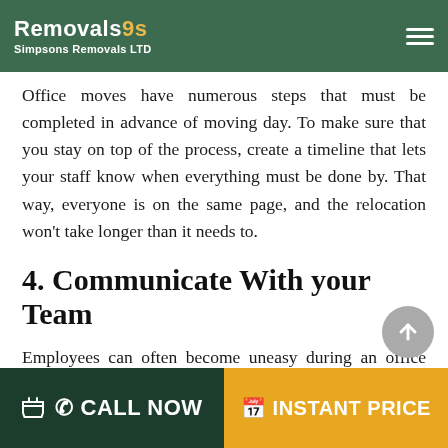Removals9s Simpsons Removals LTD
Office moves have numerous steps that must be completed in advance of moving day. To make sure that you stay on top of the process, create a timeline that lets your staff know when everything must be done by. That way, everyone is on the same page, and the relocation won't take longer than it needs to.
4. Communicate With your Team
Employees can often become uneasy during an office move, as it's a massive upheaval to their working lives. So, make sure that you consistently communicate with your staff. Let them know well in advance that you're going to new premises and advise them every time you have an update on dates or new developments in the process.
CALL NOW   INSTANT PRICE